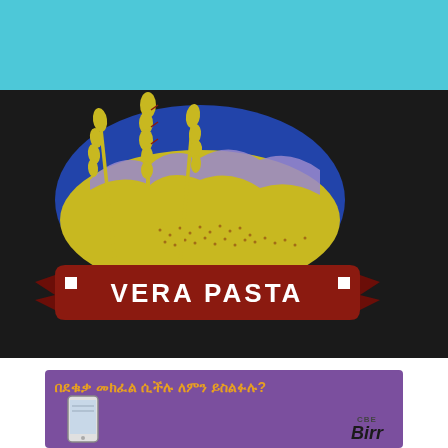[Figure (logo): Cyan/teal header bar at top of page]
[Figure (logo): Vera Pasta logo on black background: wheat stalks in gold/red over an oval landscape scene with blue sky and yellow fields, with a red banner ribbon reading VERA PASTA in white bold text]
[Figure (other): Purple advertisement banner with Amharic text in orange/yellow reading promotional message, with a smartphone image on left and CBE Birr logo on right]